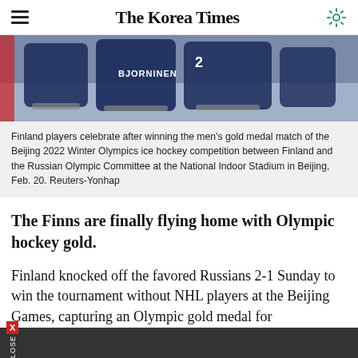The Korea Times
[Figure (photo): Finland ice hockey players celebrating on ice, one player wearing jersey with BJORNINEN on the back, after winning gold medal match at Beijing 2022 Winter Olympics]
Finland players celebrate after winning the men's gold medal match of the Beijing 2022 Winter Olympics ice hockey competition between Finland and the Russian Olympic Committee at the National Indoor Stadium in Beijing, Feb. 20. Reuters-Yonhap
The Finns are finally flying home with Olympic hockey gold.
Finland knocked off the favored Russians 2-1 Sunday to win the tournament without NHL players at the Beijing Games, capturing an Olympic gold medal for